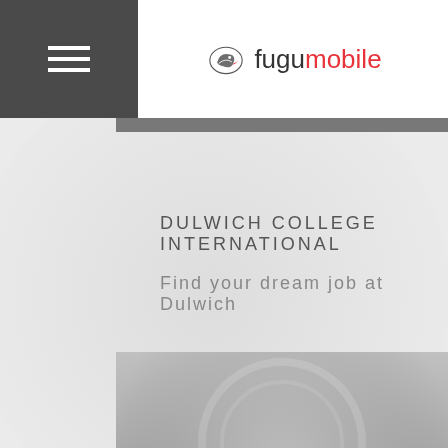[Figure (logo): Fugu mobile logo with bird icon — 'fugu' in black and 'mobile' in red]
DULWICH COLLEGE INTERNATIONAL
Find your dream job at Dulwich
[Figure (photo): Faded grayscale background image of a watch or globe, with a circular plus button in the center of a dark gradient card]